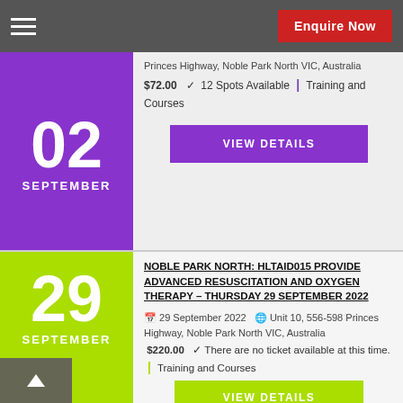Enquire Now
2 September 2022  Unit 10, 556-598 Princes Highway, Noble Park North VIC, Australia  $72.00  12 Spots Available  | Training and Courses
VIEW DETAILS
NOBLE PARK NORTH: HLTAID015 PROVIDE ADVANCED RESUSCITATION AND OXYGEN THERAPY – THURSDAY 29 SEPTEMBER 2022
29 September 2022  Unit 10, 556-598 Princes Highway, Noble Park North VIC, Australia  $220.00  There are no ticket available at this time.  | Training and Courses
VIEW DETAILS